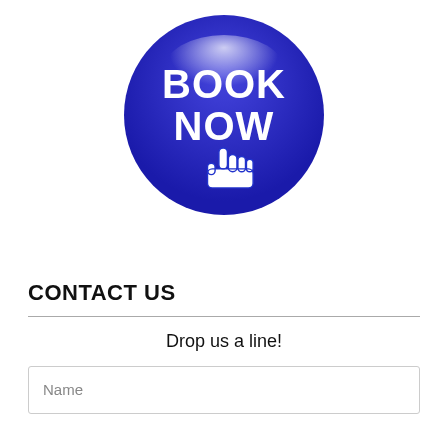[Figure (illustration): A glossy blue circular button with white bold text 'BOOK NOW' and a white cursor hand icon pointing upward, centered at the top of the page.]
CONTACT US
Drop us a line!
Name